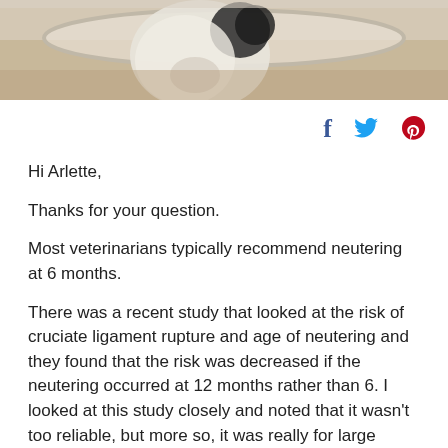[Figure (photo): Close-up photo of a dog's face in a bowl or collar, black and white dog, slightly blurred background]
[Figure (infographic): Social media share icons: Facebook (f), Twitter (bird), Pinterest (p)]
Hi Arlette,
Thanks for your question.
Most veterinarians typically recommend neutering at 6 months.
There was a recent study that looked at the risk of cruciate ligament rupture and age of neutering and they found that the risk was decreased if the neutering occurred at 12 months rather than 6. I looked at this study closely and noted that it wasn't too reliable, but more so, it was really for large breed dogs only so depending on your dog's size, it may have more or less relevance.
Some dogs may develop certain undesirable male behaviours from the effect of the testosterone that is produced by the